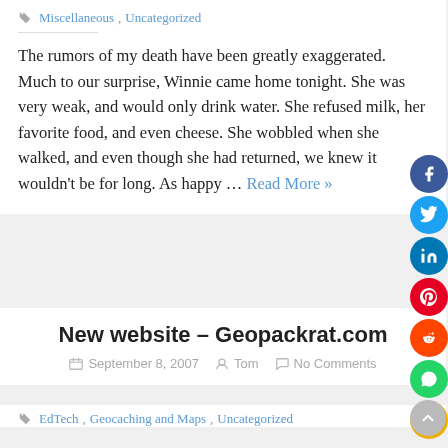Miscellaneous, Uncategorized
The rumors of my death have been greatly exaggerated. Much to our surprise, Winnie came home tonight. She was very weak, and would only drink water. She refused milk, her favorite food, and even cheese. She wobbled when she walked, and even though she had returned, we knew it wouldn't be for long. As happy … Read More »
New website – Geopackrat.com
September 8, 2007  Tom  No Comments
EdTech, Geocaching and Maps, Uncategorized
I seem to be doing more and more workshops on Google Earth and Google Maps. I had been placing all of the